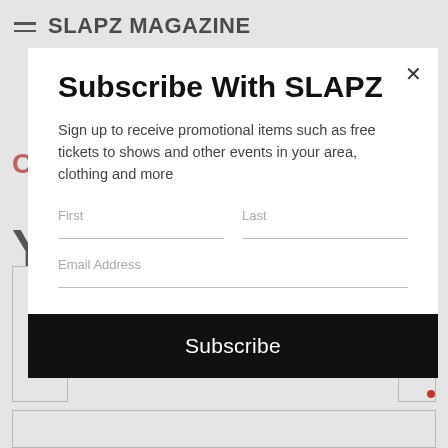SLAPZ MAGAZINE
Subscribe With SLAPZ
Sign up to receive promotional items such as free tickets to shows and other events in your area, clothing and more
First  Last
Email Address
Subscribe